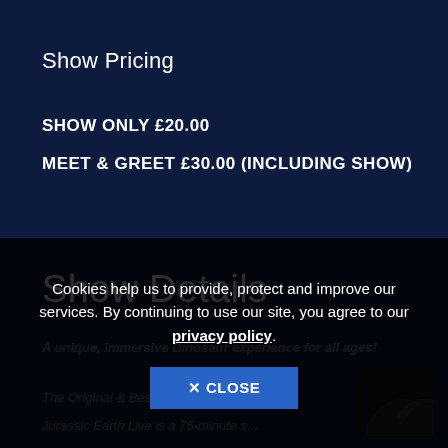Show Pricing
SHOW ONLY £20.00
MEET & GREET £30.00 (INCLUDING SHOW)
Show Details
A unique, immersive Dinosaur experience for all ages!
The Original & Best Dinosaur Live Show!
Jurassic Earth Live is a 75-minute s...
Cookies help us to provide, protect and improve our services. By continuing to use our site, you agree to our privacy policy.